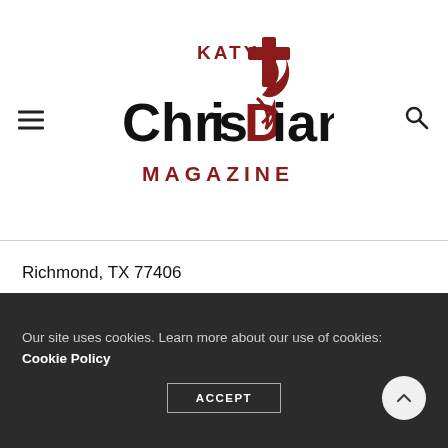Katy Christian Magazine
Richmond, TX 77406
(281) 238-4800
[Figure (other): Globe website icon (blue) and Facebook icon (blue square with F)]
Our site uses cookies. Learn more about our use of cookies: Cookie Policy  ACCEPT